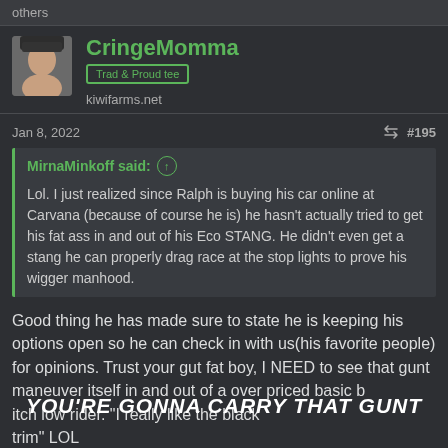others
CringeMomma
kiwifarms.net
Jan 8, 2022  #195
MirnaMinkoff said: Lol. I just realized since Ralph is buying his car online at Carvana (because of course he is) he hasn't actually tried to get his fat ass in and out of his Eco STANG. He didn't even get a stang he can properly drag race at the stop lights to prove his wigger manhood.
Good thing he has made sure to state he is keeping his options open so he can check in with us(his favorite people) for opinions. Trust your gut fat boy, I NEED to see that gunt maneuver itself in and out of a over priced basic bitch low rider. "I really like the black trim" LOL
YOU'RE GONNA CARRY THAT GUNT